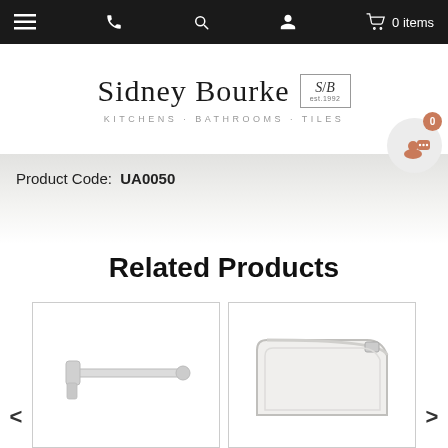Navigation bar with menu, phone, search, account, cart (0 items)
[Figure (logo): Sidney Bourke Kitchens · Bathrooms · Tiles logo with S/B monogram box, est.1992]
Product Code:  UA0050
Related Products
[Figure (photo): White towel rail/bar bathroom accessory product image]
[Figure (photo): White quadrant shower tray product image]